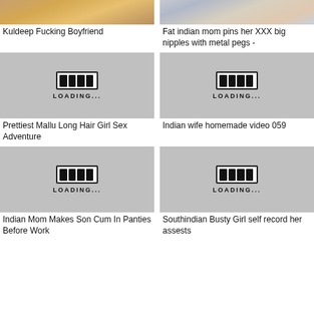[Figure (photo): Thumbnail image top left - food/person photo]
Kuldeep Fucking Boyfriend
[Figure (photo): Thumbnail image top right - person in striped clothing]
Fat indian mom pins her XXX big nipples with metal pegs -
[Figure (other): Loading placeholder thumbnail with battery-style loading bar]
Prettiest Mallu Long Hair Girl Sex Adventure
[Figure (other): Loading placeholder thumbnail with battery-style loading bar]
Indian wife homemade video 059
[Figure (other): Loading placeholder thumbnail with battery-style loading bar]
Indian Mom Makes Son Cum In Panties Before Work
[Figure (other): Loading placeholder thumbnail with battery-style loading bar]
Southindian Busty Girl self record her assests